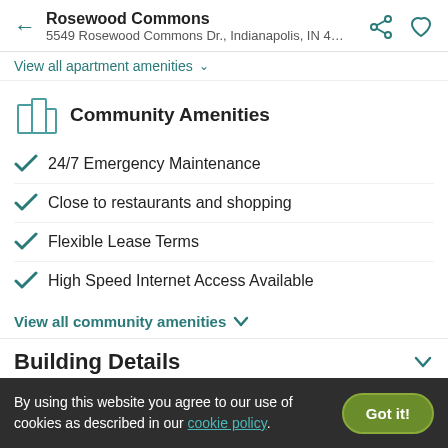Rosewood Commons
5549 Rosewood Commons Dr., Indianapolis, IN 4…
View all apartment amenities
Community Amenities
24/7 Emergency Maintenance
Close to restaurants and shopping
Flexible Lease Terms
High Speed Internet Access Available
View all community amenities
Building Details
By using this website you agree to our use of cookies as described in our cookie policy.